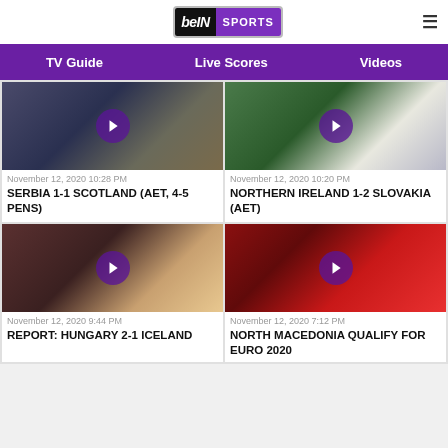[Figure (logo): beIN SPORTS logo with hamburger menu icon]
TV Guide   Live Scores   Videos
[Figure (photo): Soccer match action photo - Serbia vs Scotland]
November 12, 2020 10:28 PM
SERBIA 1-1 SCOTLAND (AET, 4-5 PENS)
[Figure (photo): Soccer match action photo - Northern Ireland vs Slovakia]
November 12, 2020 10:20 PM
NORTHERN IRELAND 1-2 SLOVAKIA (AET)
[Figure (photo): Soccer match action photo - Hungary vs Iceland]
November 12, 2020 9:44 PM
REPORT: HUNGARY 2-1 ICELAND
[Figure (photo): Soccer team celebrating - North Macedonia qualify for Euro 2020]
November 12, 2020 7:12 PM
NORTH MACEDONIA QUALIFY FOR EURO 2020